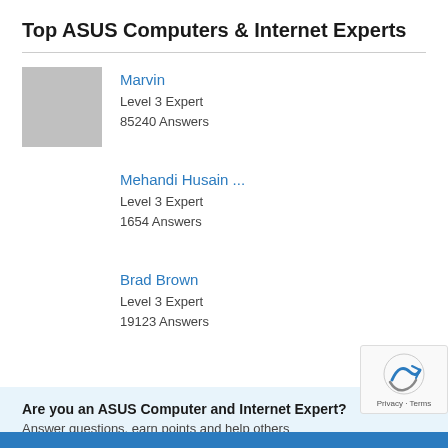Top ASUS Computers & Internet Experts
Marvin
Level 3 Expert
85240 Answers
Mehandi Husain ...
Level 3 Expert
1654 Answers
Brad Brown
Level 3 Expert
19123 Answers
Are you an ASUS Computer and Internet Expert?
Answer questions, earn points and help others